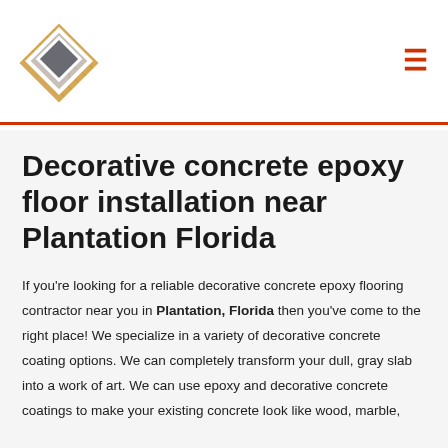[Figure (logo): Diamond-shaped logo made of stacked square tiles showing wood flooring, marble, and stone textures]
Decorative concrete epoxy floor installation near Plantation Florida
If you're looking for a reliable decorative concrete epoxy flooring contractor near you in Plantation, Florida then you've come to the right place! We specialize in a variety of decorative concrete coating options. We can completely transform your dull, gray slab into a work of art. We can use epoxy and decorative concrete coatings to make your existing concrete look like wood, marble,